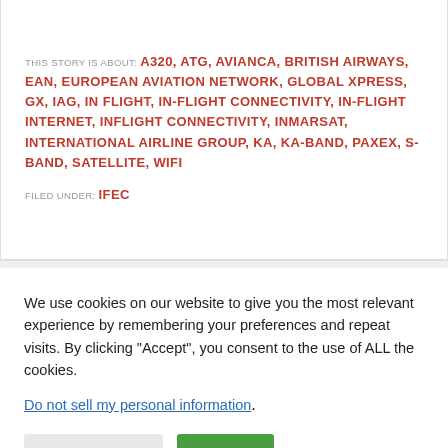THIS STORY IS ABOUT: A320, ATG, AVIANCA, BRITISH AIRWAYS, EAN, EUROPEAN AVIATION NETWORK, GLOBAL XPRESS, GX, IAG, IN FLIGHT, IN-FLIGHT CONNECTIVITY, IN-FLIGHT INTERNET, INFLIGHT CONNECTIVITY, INMARSAT, INTERNATIONAL AIRLINE GROUP, KA, KA-BAND, PAXEX, S-BAND, SATELLITE, WIFI
FILED UNDER: IFEC
We use cookies on our website to give you the most relevant experience by remembering your preferences and repeat visits. By clicking "Accept", you consent to the use of ALL the cookies.
Do not sell my personal information.